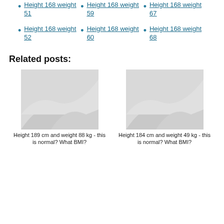Height 168 weight 51
Height 168 weight 59
Height 168 weight 67
Height 168 weight 52
Height 168 weight 60
Height 168 weight 68
Related posts:
[Figure (photo): Placeholder image for Height 189 cm and weight 88 kg post]
Height 189 cm and weight 88 kg - this is normal? What BMI?
[Figure (photo): Placeholder image for Height 184 cm and weight 49 kg post]
Height 184 cm and weight 49 kg - this is normal? What BMI?